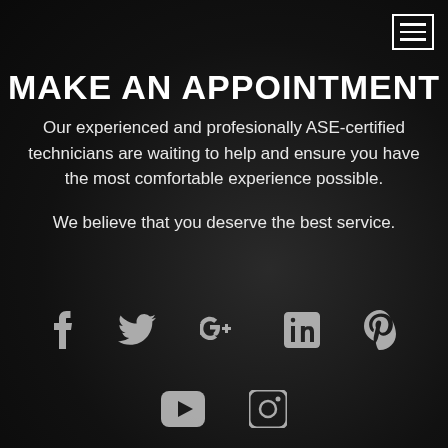[Figure (screenshot): Hamburger menu icon (three horizontal lines) in top-right corner with white border]
MAKE AN APPOINTMENT
Our experienced and profesionally ASE-certified technicians are waiting to help and ensure you have the most comfortable experience possible.

We believe that you deserve the best service.
[Figure (infographic): Social media icons row 1: Facebook, Twitter, Google+, LinkedIn, Pinterest]
[Figure (infographic): Social media icons row 2: YouTube, Instagram]